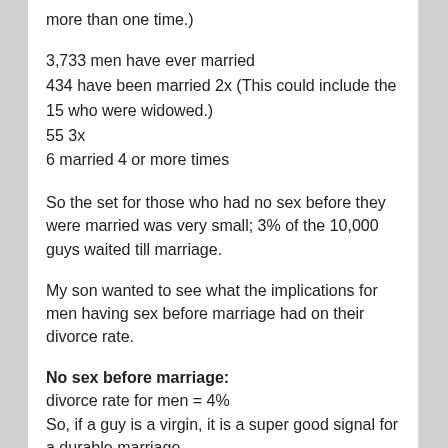more than one time.)
3,733 men have ever married
434 have been married 2x (This could include the 15 who were widowed.)
55 3x
6 married 4 or more times
So the set for those who had no sex before they were married was very small; 3% of the 10,000 guys waited till marriage.
My son wanted to see what the implications for men having sex before marriage had on their divorce rate.
No sex before marriage:
divorce rate for men = 4%
So, if a guy is a virgin, it is a super good signal for a durable marriage.
Sex with their engaged partner: